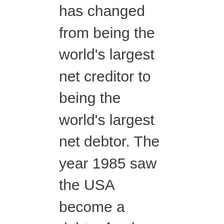has changed from being the world's largest net creditor to being the world's largest net debtor. The year 1985 saw the USA become a debtor for the first time since 1914. The US economy remains strong of course, but the country's poor trading performance in recent times highlights a relative decline and the growing importance of other economies, notably Japan's. One is brought up rather sharply to reflect on these things by the untimely death of Robert Noyce in early June, at the age of 62. Robert Noyce had amongst other things been the president and chief executive of Sematech, a consortium of major US semiconductor manufacturers whose aim is to regain for the US its pre eminent position in semiconductor technology. Robert Noyce and the silicon chip were intimately linked. It was as a young scientist in his thirties, working at Fairchild Semiconductor, that he created some of the earliest integrated circuits. Jack Kilby came up with similar ideas at the same time, working at Texas Instruments. There followed a ten-year